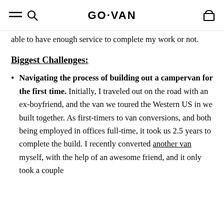GO·VAN
able to have enough service to complete my work or not.
Biggest Challenges:
Navigating the process of building out a campervan for the first time. Initially, I traveled out on the road with an ex-boyfriend, and the van we toured the Western US in we built together. As first-timers to van conversions, and both being employed in offices full-time, it took us 2.5 years to complete the build. I recently converted another van myself, with the help of an awesome friend, and it only took a couple